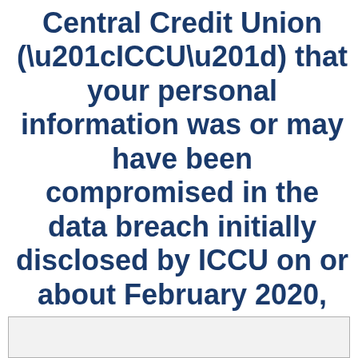Central Credit Union (“ICCU”) that your personal information was or may have been compromised in the data breach initially disclosed by ICCU on or about February 2020, you may be eligible for benefits from a class action settlement.